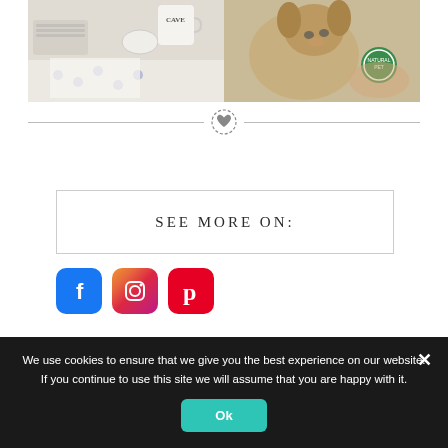[Figure (photo): Two side-by-side photos: left shows a desk scene with a 'Cave' mug, mouse, keyboard, and scattered paper dots; right shows a small dog wrapped in a blanket with a green circular sticker/badge on someone's arm]
[Figure (other): Decorative divider with a dashed-circle heart icon in the center flanked by horizontal lines]
SEE MORE ON:
[Figure (other): Facebook, Instagram, and Pinterest social media icon buttons]
We use cookies to ensure that we give you the best experience on our website. If you continue to use this site we will assume that you are happy with it.
Ok